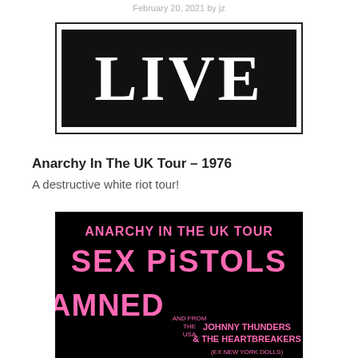February 20, 2021 by jz
[Figure (illustration): Black rectangle banner with bold white serif text reading LIVE, inside a thin black border frame]
Anarchy In The UK Tour – 1976
A destructive white riot tour!
[Figure (photo): Concert poster on black background with pink text reading ANARCHY IN THE UK TOUR, SEX PISTOLS, DAMNED, and smaller text AND FROM THE USA, JOHNNY THUNDERS & THE HEARTBREAKERS (EX NEW YORK DOLLS)]